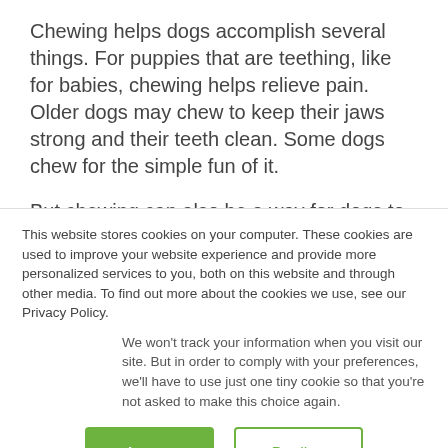Chewing helps dogs accomplish several things. For puppies that are teething, like for babies, chewing helps relieve pain. Older dogs may chew to keep their jaws strong and their teeth clean. Some dogs chew for the simple fun of it.
But chewing can also be a way for dogs to work through and relieve anxiety, frustration, or boredom. Unfortunately, they're not always great at picking the best things to chew on. This is where you come in.
This website stores cookies on your computer. These cookies are used to improve your website experience and provide more personalized services to you, both on this website and through other media. To find out more about the cookies we use, see our Privacy Policy.
We won't track your information when you visit our site. But in order to comply with your preferences, we'll have to use just one tiny cookie so that you're not asked to make this choice again.